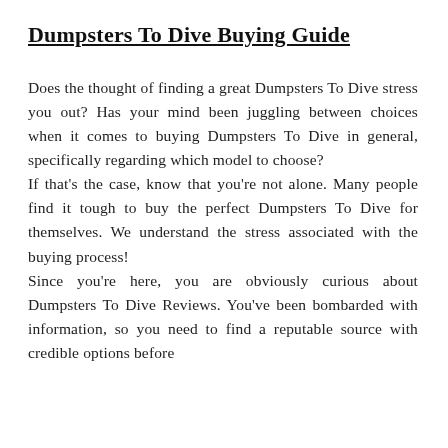Dumpsters To Dive Buying Guide
Does the thought of finding a great Dumpsters To Dive stress you out? Has your mind been juggling between choices when it comes to buying Dumpsters To Dive in general, specifically regarding which model to choose?
If that's the case, know that you're not alone. Many people find it tough to buy the perfect Dumpsters To Dive for themselves. We understand the stress associated with the buying process!
Since you're here, you are obviously curious about Dumpsters To Dive Reviews. You've been bombarded with information, so you need to find a reputable source with credible options before you make decisions on which product would be suitable for your needs.